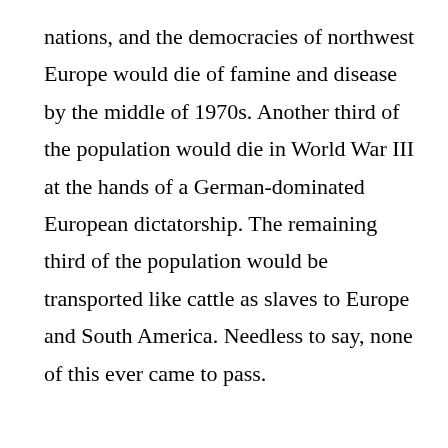nations, and the democracies of northwest Europe would die of famine and disease by the middle of 1970s. Another third of the population would die in World War III at the hands of a German-dominated European dictatorship. The remaining third of the population would be transported like cattle as slaves to Europe and South America. Needless to say, none of this ever came to pass.